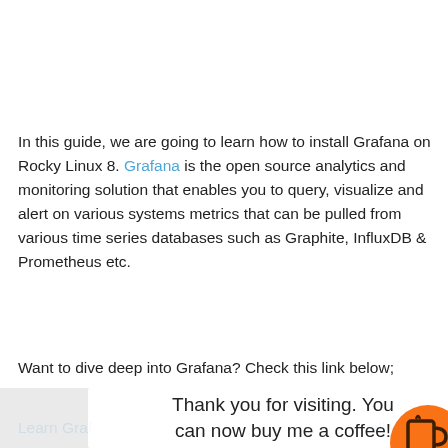In this guide, we are going to learn how to install Grafana on Rocky Linux 8. Grafana is the open source analytics and monitoring solution that enables you to query, visualize and alert on various systems metrics that can be pulled from various time series databases such as Graphite, InfluxDB & Prometheus etc.
Want to dive deep into Grafana? Check this link below;
Thank you for visiting. You can now buy me a coffee!
Learn Graf... well y...